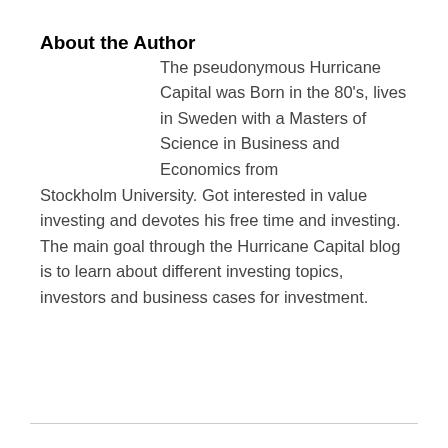About the Author
The pseudonymous Hurricane Capital was Born in the 80's, lives in Sweden with a Masters of Science in Business and Economics from Stockholm University. Got interested in value investing and devotes his free time and investing. The main goal through the Hurricane Capital blog is to learn about different investing topics, investors and business cases for investment.